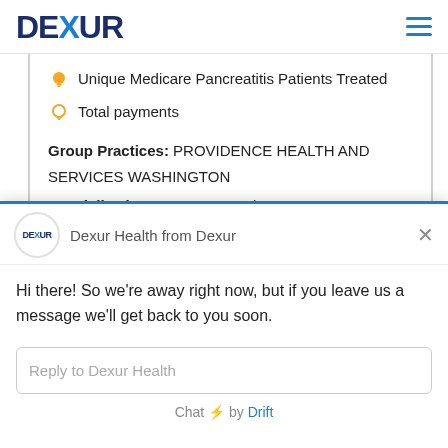DEXUR
Unique Medicare Pancreatitis Patients Treated
Total payments
Group Practices: PROVIDENCE HEALTH AND SERVICES WASHINGTON
Specializations: Gastroenterology
Counties Served: Benton, WA; Spokane, WA
This website uses cookies to ensure you get the best experience on our website. By using...
Dexur Health from Dexur

Hi there! So we're away right now, but if you leave us a message we'll get back to you soon.
Reply to Dexur Health
Chat ⚡ by Drift